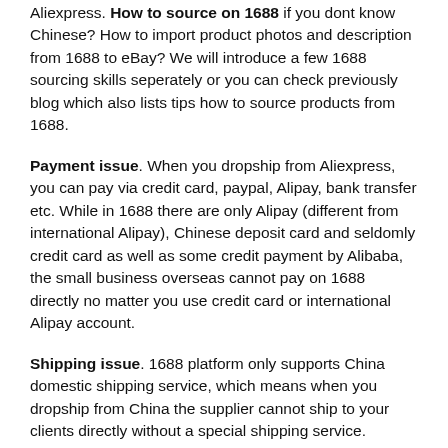Aliexpress. How to source on 1688 if you dont know Chinese? How to import product photos and description from 1688 to eBay? We will introduce a few 1688 sourcing skills seperately or you can check previously blog which also lists tips how to source products from 1688.
Payment issue. When you dropship from Aliexpress, you can pay via credit card, paypal, Alipay, bank transfer etc. While in 1688 there are only Alipay (different from international Alipay), Chinese deposit card and seldomly credit card as well as some credit payment by Alibaba, the small business overseas cannot pay on 1688 directly no matter you use credit card or international Alipay account.
Shipping issue. 1688 platform only supports China domestic shipping service, which means when you dropship from China the supplier cannot ship to your clients directly without a special shipping service.